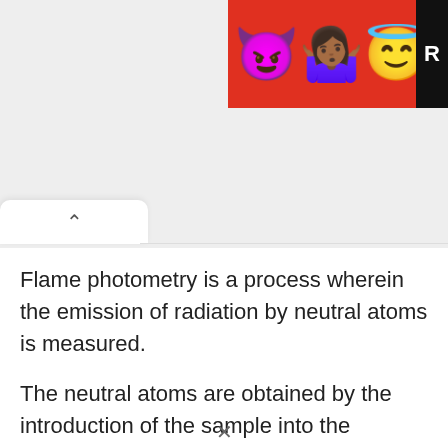[Figure (screenshot): Advertisement banner in top-right corner with red background showing emojis (devil, person with hands up, angel/halo face) and a black R label on the right edge.]
Flame photometry is a process wherein the emission of radiation by neutral atoms is measured.
The neutral atoms are obtained by the introduction of the sample into the